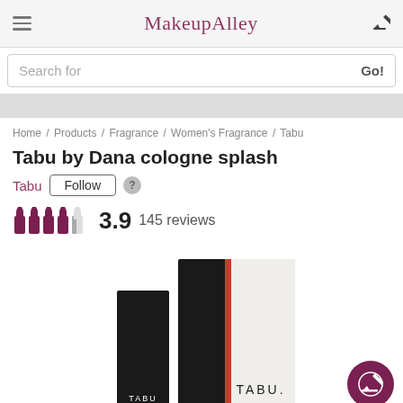MakeupAlley
Search for   Go!
Home / Products / Fragrance / Women's Fragrance / Tabu
Tabu by Dana cologne splash
Tabu   Follow   ?
3.9   145 reviews
[Figure (photo): Product photo of Tabu by Dana cologne splash boxes — a smaller black box labeled TABU and a larger black-and-white box labeled TABU with a red stripe]